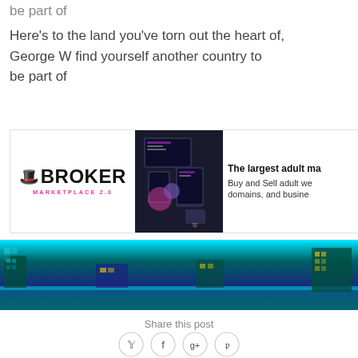be part of

Here's to the land you've torn out the heart of,
George W find yourself another country to be part of
[Figure (advertisement): BROKER MARKETPLACE 2.0 advertisement banner with logo, screenshot of dark-themed website/app on devices, and text about adult marketplace]
[Figure (illustration): Wide banner illustration showing a dark sci-fi/futuristic scene with teal/cyan colors, buildings and circuit-like elements]
Share this post
[Figure (infographic): Social share icons: Twitter, Facebook, Google+, Pinterest — each in a circle]